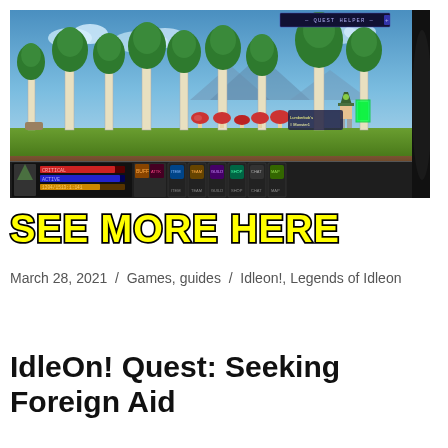[Figure (screenshot): Game screenshot of Legends of Idleon showing a forested side-scrolling platformer scene with birch trees, mushrooms, a player character, and a bottom UI bar with stats and action buttons. A QUEST HELPER panel is visible in the top right corner.]
SEE MORE HERE
March 28, 2021 / Games, guides / Idleon!, Legends of Idleon
IdleOn! Quest: Seeking Foreign Aid